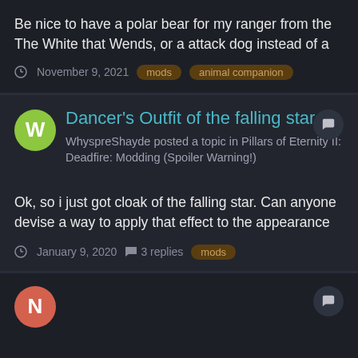Be nice to have a polar bear for my ranger from the The White that Wends, or a attack dog instead of a
November 9, 2021  mods  animal companion
[Figure (other): User avatar with letter W on green circle background]
Dancer's Outfit of the falling star
WhyspreShayde posted a topic in Pillars of Eternity II: Deadfire: Modding (Spoiler Warning!)
Ok, so i just got cloak of the falling star. Can anyone devise a way to apply that effect to the appearance
January 9, 2020  3 replies  mods
[Figure (other): User avatar with letter N on red/salmon circle background]